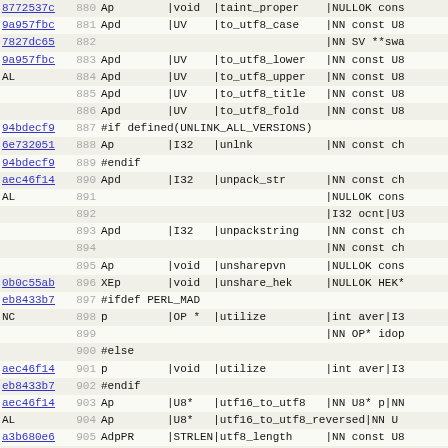| hash | line | code |
| --- | --- | --- |
| 8772537c | 880 | Ap        |void  |taint_proper    |NULLOK cons |
| 9a957fbc | 881 | Apd       |UV    |to_utf8_case    |NN const U8 |
| 7827dc65 | 882 |                                   |NN SV **swa |
| 9a957fbc | 883 | Apd       |UV    |to_utf8_lower   |NN const U8 |
| AL | 884 | Apd       |UV    |to_utf8_upper   |NN const U8 |
|  | 885 | Apd       |UV    |to_utf8_title   |NN const U8 |
|  | 886 | Apd       |UV    |to_utf8_fold    |NN const U8 |
| 94bdecf9 | 887 | #if defined(UNLINK_ALL_VERSIONS) |
| 6e732051 | 888 | Ap        |I32   |unlnk           |NN const ch |
| 94bdecf9 | 889 | #endif |
| aec46f14 | 890 | Apd       |I32   |unpack_str      |NN const ch |
| AL | 891 |                                   |NULLOK cons |
|  | 892 |                                   |I32 ocnt|U3 |
|  | 893 | Apd       |I32   |unpackstring    |NN const ch |
|  | 894 |                                   |NN const ch |
|  | 895 | Ap        |void  |unsharepvn      |NULLOK cons |
| 0b0c55ab | 896 | XEp       |void  |unshare_hek     |NULLOK HEK* |
| eb8433b7 | 897 | #ifdef PERL_MAD |
| NC | 898 | p         |OP *  |utilize         |int aver|I3 |
|  | 899 |                                   |NN OP* idop |
|  | 900 | #else |
| aec46f14 | 901 | p         |void  |utilize         |int aver|I3 |
| eb8433b7 | 902 | #endif |
| aec46f14 | 903 | Ap        |U8*   |utf16_to_utf8   |NN U8* p|NN |
| AL | 904 | Ap        |U8*   |utf16_to_utf8_reversed|NN U |
| a3b680e6 | 905 | AdpPR     |STRLEN|utf8_length     |NN const U8 |
| AL | 906 | ApdPR     |IV    |utf8_distance   |NN const U8 |
|  | 907 | ApdPR     |U8*   |utf8_hop        |NN const U8 |
| 4373e329 | 908 | ApMd      |U8*   |utf8_to_bytes   |NN U8 *s|NN |
| aec46f14 | 909 | ApMd      |U8*   |bytes_from_utf8 |NN const U8 |
| AL | 910 | ApMd      |U8*   |bytes_to_utf8   |NN const U8 |
|  | 911 | Apd       |UV    |utf8_to_uvchr   |NN const U8 |
|  | 912 | ... |